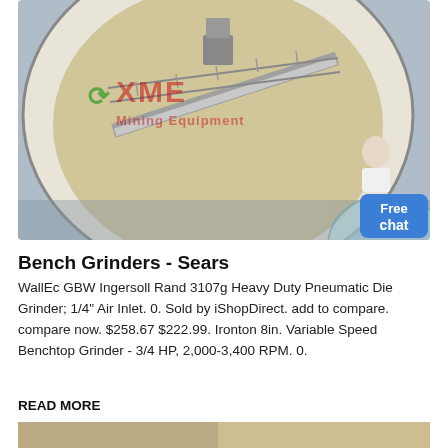[Figure (photo): Aerial/overhead photo of a large circular industrial thickener tank with a walkway/bridge structure across it, watermarked with 'XME Mining Equipment' logo in green and red]
Bench Grinders - Sears
WallEc GBW Ingersoll Rand 3107g Heavy Duty Pneumatic Die Grinder; 1/4" Air Inlet. 0. Sold by iShopDirect. add to compare. compare now. $258.67 $222.99. Ironton 8in. Variable Speed Benchtop Grinder - 3/4 HP, 2,000-3,400 RPM. 0.
READ MORE
[Figure (photo): Bottom strip of another product image, partially visible]